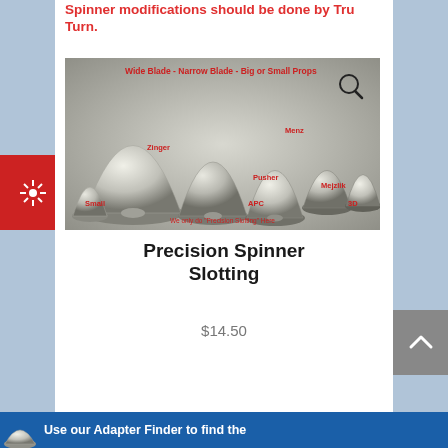Spinner modifications should be done by Tru Turn.
[Figure (photo): Multiple silver aluminum precision spinners of various sizes labeled: Wide Blade - Narrow Blade - Big or Small Props, Zinger, Menz, Pusher, APC, Small, Mejzlik, 3D. Text at bottom: We only do 'Precision Slotting' Here]
Precision Spinner Slotting
$14.50
Use our Adapter Finder to find the